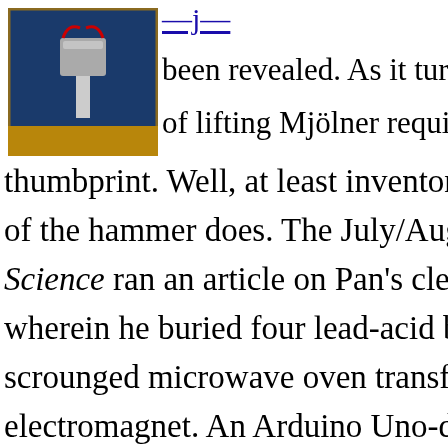[Figure (photo): A photo of Thor's hammer Mjölner replica with electromagnet components, on a blue and wooden background.]
been revealed. As it turns o of lifting Mjölner requires thumbprint. Well, at least inventor / m of the hammer does. The July/August Science ran an article on Pan's cleverly wherein he buried four lead-acid batte scrounged microwave oven transforme electromagnet. An Arduino Uno-drive